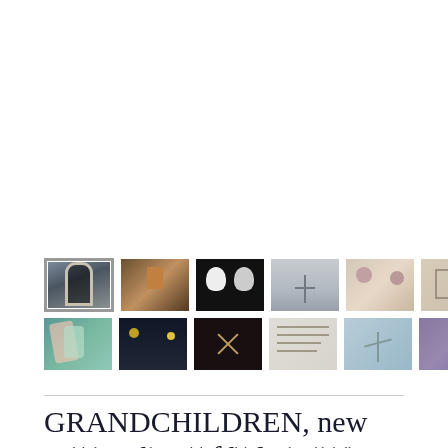[Figure (photo): Two rows of thumbnail images from a photo gallery. Top row: architectural archway (selected/highlighted), shrine/figurine, black and white portrait of two faces, sailing ship in mist, floral arrangement, interior room sketch, and two control buttons (grid and pause). Bottom row: colorful abstract, night street scene, dark crossed pattern, book/manuscript page, tree branch in snow, purple texture, and a person portrait.]
GRANDCHILDREN, new geographies of belonging
In a global context where mobility and the virtual world challenge